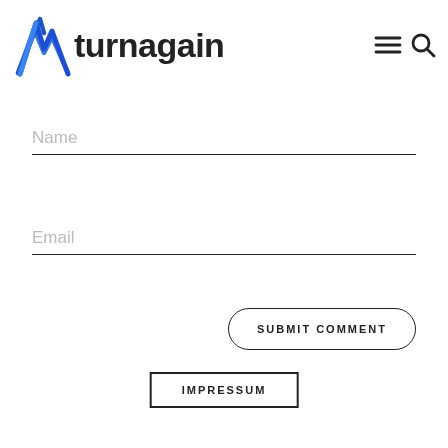[Figure (logo): Turnagain logo with blue mountain/lightning bolt SVG mark and dark 'turnagain' wordmark]
Name
Email
SUBMIT COMMENT
IMPRESSUM